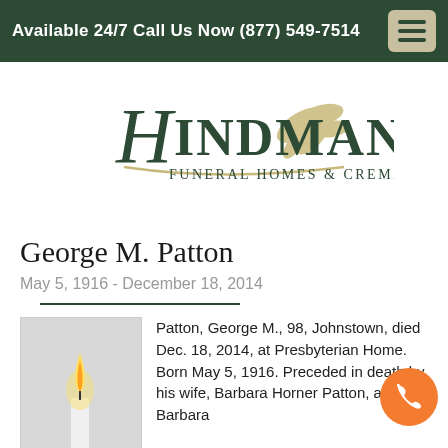Available 24/7 Call Us Now (877) 549-7514
[Figure (logo): Hindman Funeral Homes & Crematory, Inc. logo with script H and decorative leaves]
George M. Patton
May 5, 1916 - December 18, 2014
[Figure (photo): Photo of a lit candle against a light gray background]
Patton, George M., 98, Johnstown, died Dec. 18, 2014, at Presbyterian Home. Born May 5, 1916. Preceded in death by his wife, Barbara Horner Patton, aka Barbara